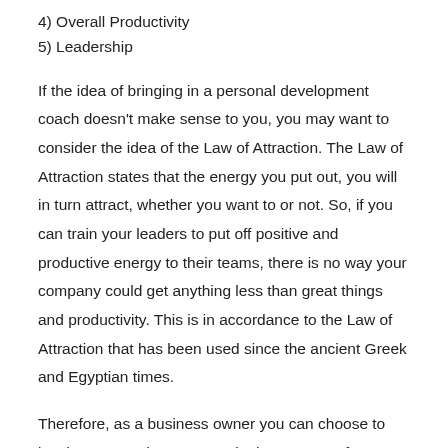4) Overall Productivity
5) Leadership
If the idea of bringing in a personal development coach doesn't make sense to you, you may want to consider the idea of the Law of Attraction. The Law of Attraction states that the energy you put out, you will in turn attract, whether you want to or not. So, if you can train your leaders to put off positive and productive energy to their teams, there is no way your company could get anything less than great things and productivity. This is in accordance to the Law of Attraction that has been used since the ancient Greek and Egyptian times.
Therefore, as a business owner you can choose to involve your entire company in the process of personal development coaching or you can choose to undergo it yourself. However, the more people in your business that you inspire to take it seriously, the better your entire business will be. Many major companies make it